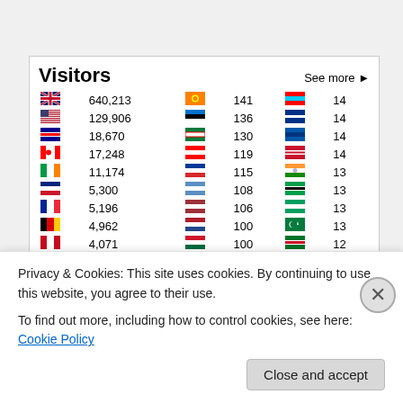| Flag | Visitors | Flag | Visitors | Flag | Visitors |
| --- | --- | --- | --- | --- | --- |
| UK | 640,213 | Sri Lanka | 141 | Myanmar | 14 |
| USA | 129,906 | Estonia | 136 | Bhutan | 14 |
| Australia | 18,670 | Kuwait | 130 | Azerbaijan | 14 |
| Canada | 17,248 | Lebanon | 119 | Mongolia | 14 |
| Ireland | 11,174 | Iceland | 115 | India | 13 |
| New Zealand | 5,300 | Uruguay | 108 | Grenada | 13 |
| France | 5,196 | Latvia | 106 | St Kitts & Nevis | 13 |
| Germany | 4,962 | Croatia | 100 | Palestine | 13 |
| Spain | 4,071 | Bangladesh | 100 | Djibouti | 12 |
| Netherlands | 3,684 | Venezuela | 98 | Belize | 10 |
| South Africa | 3,049 | Bahrain | 97 | Suriname | 10 |
| India | 2,760 | Zimbabwe | 96 | Cameroon | 10 |
| Belgium | 1,999 | Martinique | 95 | Mozambique | 10 |
| Russia | 1,753 | Jordan | 93 | Yemen | 10 |
| Singapore | 1,701 | Argentina | 91 | Seychelles | 9 |
| Philippines | 1,562 | Venezuela | 89 | Portugal | 9 |
| Ireland | 1,521 | Guyana | 82 | flag | 9 |
Privacy & Cookies: This site uses cookies. By continuing to use this website, you agree to their use.
To find out more, including how to control cookies, see here: Cookie Policy